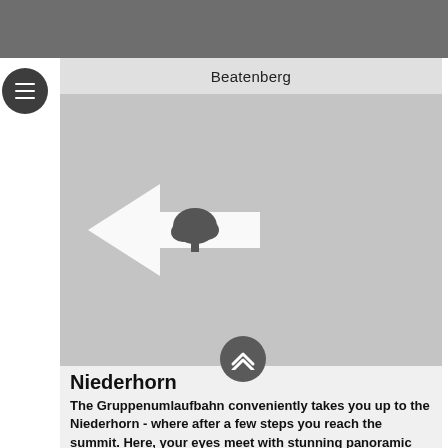Beatenberg
[Figure (map): A map view of the Beatenberg area with a navigation arrow pointing left, featuring a tree/location icon overlay]
Niederhorn
The Gruppenumlaufbahn conveniently takes you up to the Niederhorn - where after a few steps you reach the summit. Here, your eyes meet with stunning panoramic views over the Bernese Oberland.